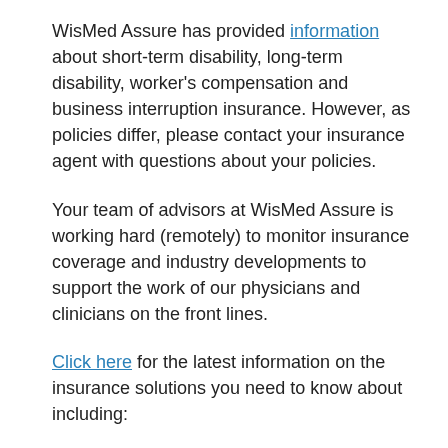WisMed Assure has provided information about short-term disability, long-term disability, worker's compensation and business interruption insurance. However, as policies differ, please contact your insurance agent with questions about your policies.
Your team of advisors at WisMed Assure is working hard (remotely) to monitor insurance coverage and industry developments to support the work of our physicians and clinicians on the front lines.
Click here for the latest information on the insurance solutions you need to know about including:
Disability coverage for physicians who test positive for coronavirus. Coverage is available